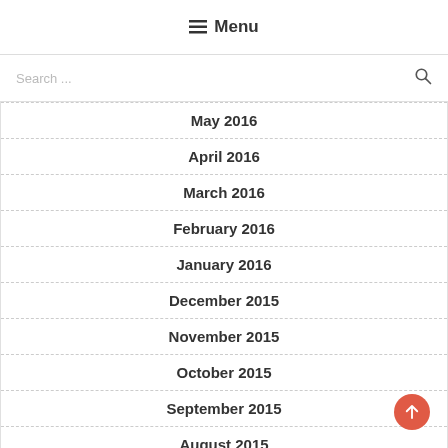☰ Menu
Search ...
May 2016
April 2016
March 2016
February 2016
January 2016
December 2015
November 2015
October 2015
September 2015
August 2015